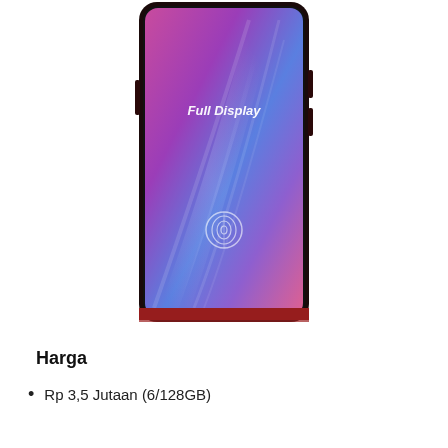[Figure (photo): A smartphone with a bezel-less full display screen showing pink, purple and blue gradient wallpaper with 'Full Display' text and a fingerprint icon on the screen. The phone has a red/dark frame.]
Harga
Rp 3,5 Jutaan (6/128GB)